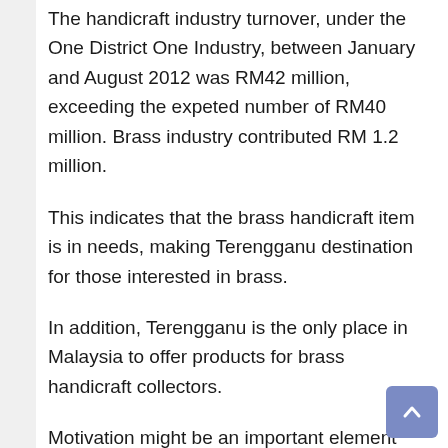The handicraft industry turnover, under the One District One Industry, between January and August 2012 was RM42 million, exceeding the expeted number of RM40 million. Brass industry contributed RM 1.2 million.
This indicates that the brass handicraft item is in needs, making Terengganu destination for those interested in brass.
In addition, Terengganu is the only place in Malaysia to offer products for brass handicraft collectors.
Motivation might be an important element that should be inculcated among the young people, who want to get involved in the industry handicrafts.